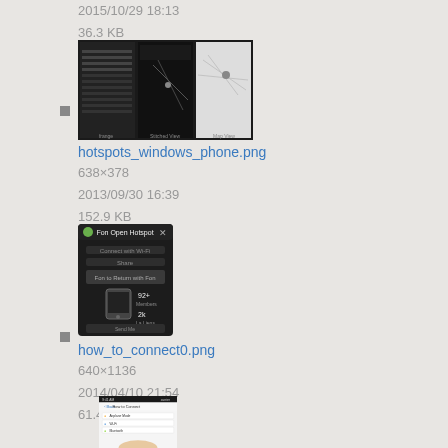2015/10/29 18:13
36.3 KB
[Figure (screenshot): Thumbnail of hotspots_windows_phone.png showing three mobile app screens]
hotspots_windows_phone.png
638×378
2013/09/30 16:39
152.9 KB
[Figure (screenshot): Thumbnail of how_to_connect0.png showing a dark mobile app screen]
how_to_connect0.png
640×1136
2014/04/10 21:54
61.4 KB
[Figure (screenshot): Thumbnail of a how-to-connect iOS screen showing Settings menu]